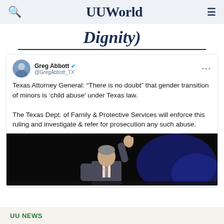UUWorld
Dignity)
[Figure (screenshot): Embedded tweet from Greg Abbott (@GregAbbott_TX) with verified badge. Tweet text: 'Texas Attorney General: “There is no doubt” that gender transition of minors is ‘child abuse’ under Texas law. The Texas Dept. of Family & Protective Services will enforce this ruling and investigate & refer for prosecution any such abuse.' Below the tweet text is a photograph of a man in a suit raising his hand, on a dark stage with blue lighting.]
UU NEWS